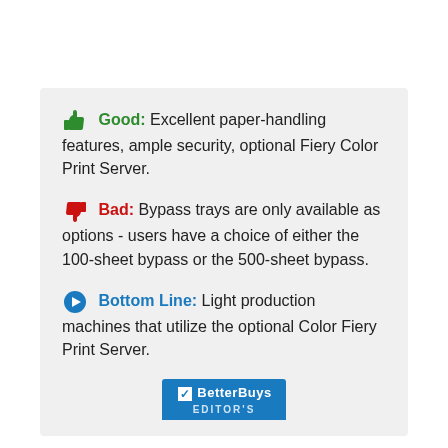Good: Excellent paper-handling features, ample security, optional Fiery Color Print Server.
Bad: Bypass trays are only available as options - users have a choice of either the 100-sheet bypass or the 500-sheet bypass.
Bottom Line: Light production machines that utilize the optional Color Fiery Print Server.
[Figure (logo): BetterBuys Editor's badge/award logo in blue]